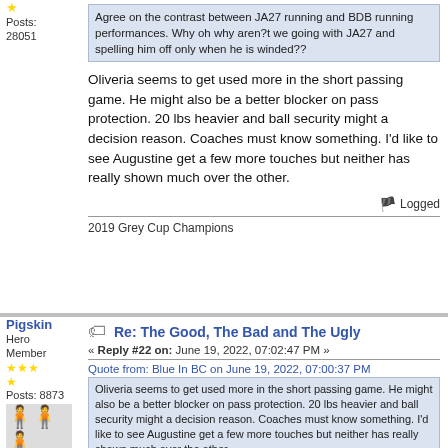Posts: 28051
Agree on the contrast between JA27 running and BDB running performances. Why oh why aren?t we going with JA27 and spelling him off only when he is winded??
Oliveria seems to get used more in the short passing game. He might also be a better blocker on pass protection. 20 lbs heavier and ball security might a decision reason. Coaches must know something. I'd like to see Augustine get a few more touches but neither has really shown much over the other.
Logged
2019 Grey Cup Champions
Pigskin
Hero Member
Posts: 8873
Re: The Good, The Bad and The Ugly
« Reply #22 on: June 19, 2022, 07:02:47 PM »
Quote from: Blue In BC on June 19, 2022, 07:00:37 PM
Oliveria seems to get used more in the short passing game. He might also be a better blocker on pass protection. 20 lbs heavier and ball security might a decision reason. Coaches must know something. I'd like to see Augustine get a few more touches but neither has really shown much over the other.
JA27 speed he can also run some pass patterns.